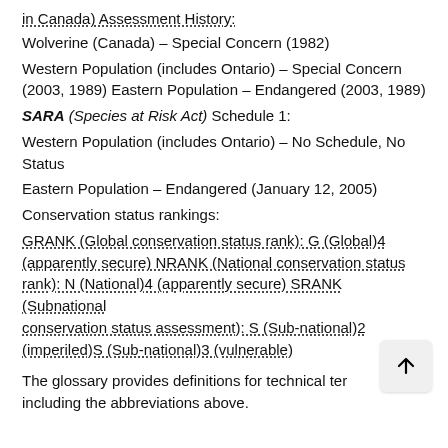in Canada) Assessment History:
Wolverine (Canada) – Special Concern (1982)
Western Population (includes Ontario) – Special Concern (2003, 1989) Eastern Population – Endangered (2003, 1989)
SARA (Species at Risk Act) Schedule 1:
Western Population (includes Ontario) – No Schedule, No Status
Eastern Population – Endangered (January 12, 2005)
Conservation status rankings:
GRANK (Global conservation status rank): G (Global)4 (apparently secure) NRANK (National conservation status rank): N (National)4 (apparently secure) SRANK (Subnational conservation status assessment): S (Sub-national)2 (imperiled)S (Sub-national)3 (vulnerable)
The glossary provides definitions for technical terms including the abbreviations above.